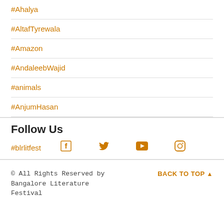#Ahalya
#AltafTyrewala
#Amazon
#AndaleebWajid
#animals
#AnjumHasan
Follow Us
#blrlitfest [Facebook] [Twitter] [YouTube] [Instagram]
© All Rights Reserved by Bangalore Literature Festival    BACK TO TOP ▲